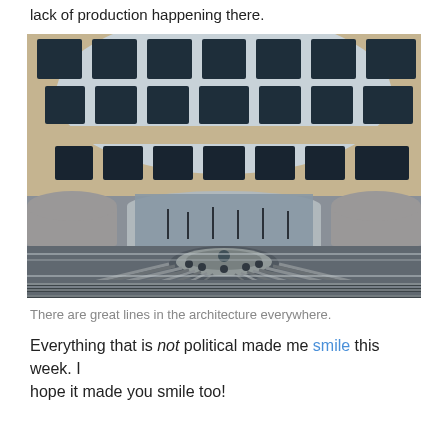It's a wonderful city, Washington D.C., if you can ignore the lack of production happening there.
[Figure (photo): Interior courtyard of a circular modernist building in Washington D.C., showing curved stone facade with large dark windows on upper floors, arched openings at ground level, and a circular sculpture or fountain with radiating metal lines in the foreground.]
There are great lines in the architecture everywhere.
Everything that is not political made me smile this week. I hope it made you smile too!